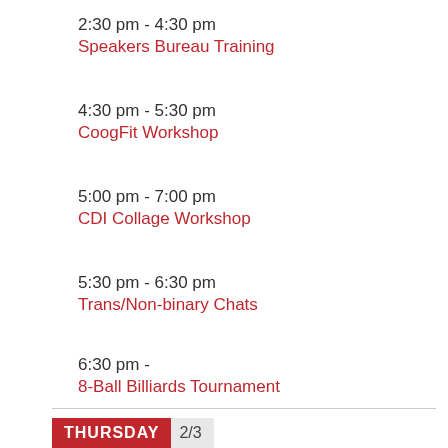2:30 pm - 4:30 pm
Speakers Bureau Training
4:30 pm - 5:30 pm
CoogFit Workshop
5:00 pm - 7:00 pm
CDI Collage Workshop
5:30 pm - 6:30 pm
Trans/Non-binary Chats
6:30 pm -
8-Ball Billiards Tournament
THURSDAY 2/3